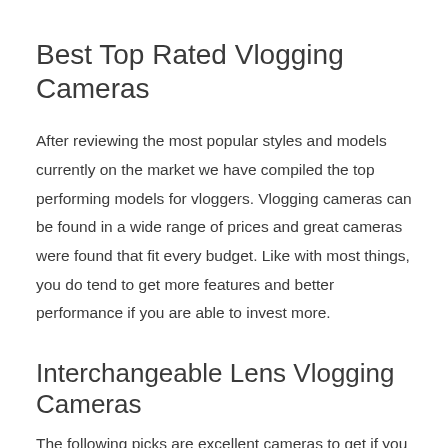Best Top Rated Vlogging Cameras
After reviewing the most popular styles and models currently on the market we have compiled the top performing models for vloggers. Vlogging cameras can be found in a wide range of prices and great cameras were found that fit every budget. Like with most things, you do tend to get more features and better performance if you are able to invest more.
Interchangeable Lens Vlogging Cameras
The following picks are excellent cameras to get if you